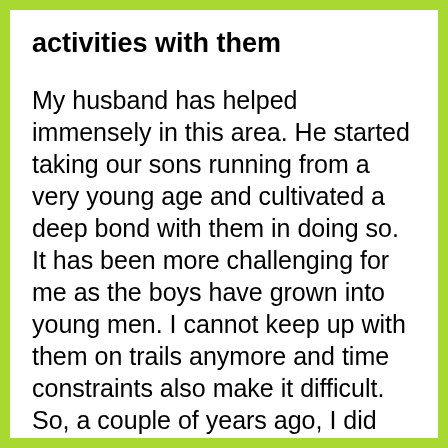activities with them
My husband has helped immensely in this area.  He started taking our sons running from a very young age and cultivated a deep bond with them in doing so.  It has been more challenging for me as the boys have grown into young men.  I cannot keep up with them on trails anymore and time constraints also make it difficult.  So, a couple of years ago, I did something absurd and wonderful:  I signed the three of us up for martial arts classes.
I am over forty, struggle with weight